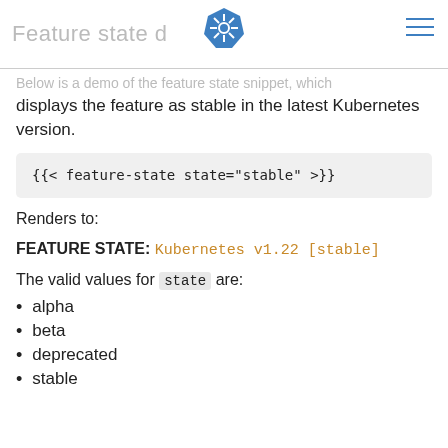Feature state demo
Below is a demo of the feature state snippet, which displays the feature as stable in the latest Kubernetes version.
{{< feature-state state="stable" >}}
Renders to:
FEATURE STATE: Kubernetes v1.22 [stable]
The valid values for state are:
alpha
beta
deprecated
stable